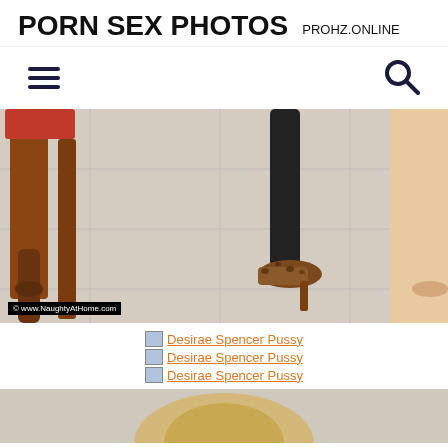PORN SEX PHOTOS PROHZ.ONLINE
[Figure (other): Navigation bar with hamburger menu icon on left and search icon on right]
[Figure (photo): Photo showing legs, high heeled leopard print shoes, and wooden furniture on tiled floor. Watermark: © www.NaughtyAtHome.com]
Desirae Spencer Pussy
Desirae Spencer Pussy
Desirae Spencer Pussy
[Figure (photo): Bottom portion of page showing top of blonde person's head]